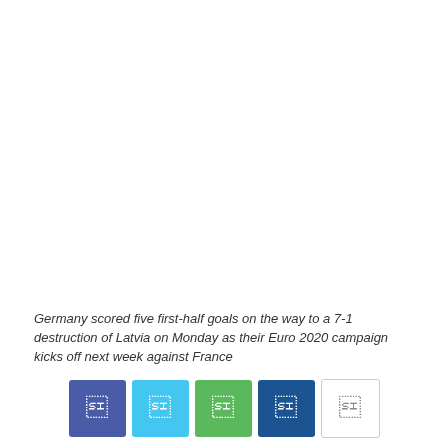Germany scored five first-half goals on the way to a 7-1 destruction of Latvia on Monday as their Euro 2020 campaign kicks off next week against France
[Figure (other): Social sharing buttons: Facebook, Twitter, WhatsApp, LinkedIn, Share]
Germany vs Latvia was only ever going to be a training game for the Germans in preparation for Euro 2020 which kicks off on Friday, 11th of June 2021. Manuel Neuer received a guard of honor in celebration of 100 caps for his nation. Joachim Low went with the 3-4-3. A frontline of Serge Gnabry, Kai Havertz, and Thomas Muller supported by Robin Gosens and Joshua Kimmich as the wing-backs, due to the lowly opposition, Low